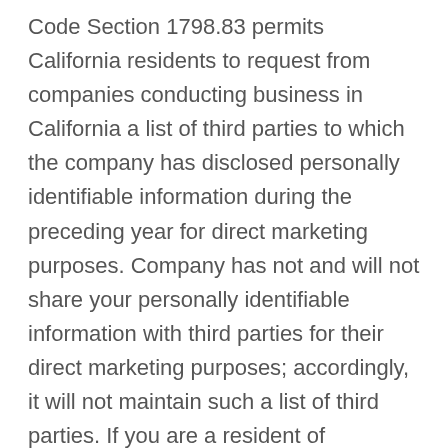Code Section 1798.83 permits California residents to request from companies conducting business in California a list of third parties to which the company has disclosed personally identifiable information during the preceding year for direct marketing purposes. Company has not and will not share your personally identifiable information with third parties for their direct marketing purposes; accordingly, it will not maintain such a list of third parties. If you are a resident of California and want additional information confirming how Company does not share your personally identifiable information with third parties for